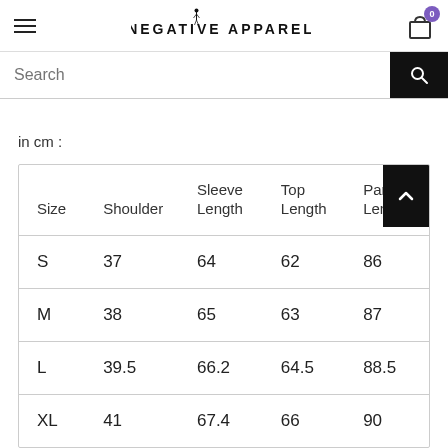NEGATIVE APPAREL
in cm :
| Size | Shoulder | Sleeve Length | Top Length | Pant Length |
| --- | --- | --- | --- | --- |
| S | 37 | 64 | 62 | 86 |
| M | 38 | 65 | 63 | 87 |
| L | 39.5 | 66.2 | 64.5 | 88.5 |
| XL | 41 | 67.4 | 66 | 90 |